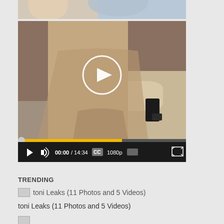[Figure (screenshot): Top portion of a video player showing partial image]
[Figure (screenshot): Video player showing a person in a tan/beige dress in a bathroom, with play button overlay, progress bar showing yellow fill, and video controls bar showing 00:00 / 14:34, CC, 1080p]
TRENDING
toni Leaks (11 Photos and 5 Videos)
toni Leaks (11 Photos and 5 Videos)